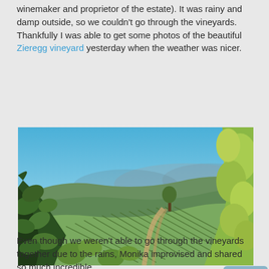winemaker and proprietor of the estate). It was rainy and damp outside, so we couldn't go through the vineyards. Thankfully I was able to get some photos of the beautiful Zieregg vineyard yesterday when the weather was nicer.
[Figure (photo): Panoramic photo of the Ried Zieregg vineyard at Weingut Tement in Südsteiermark, showing rows of grapevines on a hillside with a dirt path, surrounded by lush green forests and rolling hills under a blue sky.]
Südsteiermark – The stunning panorama of Ried Zieregg at Weingut Tement
Even though we weren't able to go through the vineyards together due to the rains, Monika improvised and shared so much incredible